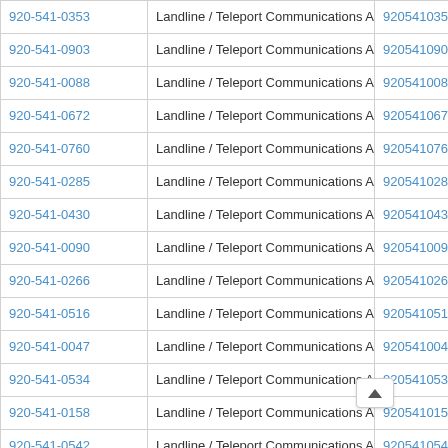| Phone | Type / Carrier | E.164 |
| --- | --- | --- |
| 920-541-0353 | Landline / Teleport Communications America | 9205410353 |
| 920-541-0903 | Landline / Teleport Communications America | 9205410903 |
| 920-541-0088 | Landline / Teleport Communications America | 9205410088 |
| 920-541-0672 | Landline / Teleport Communications America | 9205410672 |
| 920-541-0760 | Landline / Teleport Communications America | 9205410760 |
| 920-541-0285 | Landline / Teleport Communications America | 9205410285 |
| 920-541-0430 | Landline / Teleport Communications America | 9205410430 |
| 920-541-0090 | Landline / Teleport Communications America | 9205410090 |
| 920-541-0266 | Landline / Teleport Communications America | 9205410266 |
| 920-541-0516 | Landline / Teleport Communications America | 9205410516 |
| 920-541-0047 | Landline / Teleport Communications America | 9205410047 |
| 920-541-0534 | Landline / Teleport Communications America | 9205410534 |
| 920-541-0158 | Landline / Teleport Communications America | 9205410158 |
| 920-541-0542 | Landline / Teleport Communications America | 9205410542 |
| 920-541-0018 | Landline / Teleport Communications America | 9205410018 |
| 920-541-0622 | Landline / Teleport Communications America | 9205410622 |
| 920-541-0609 | Landline / Teleport Communications America | 9205410609 |
| 920-541-0144 | Landline / Teleport Communications America | 9205410144 |